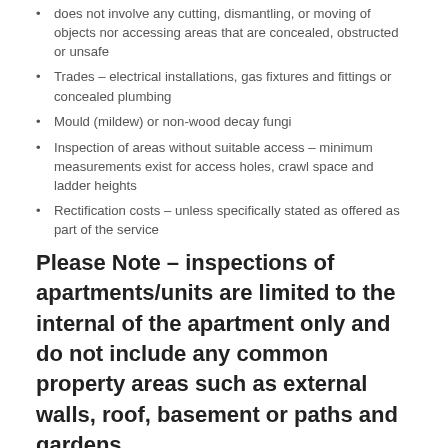does not involve any cutting, dismantling, or moving of objects nor accessing areas that are concealed, obstructed or unsafe
Trades – electrical installations, gas fixtures and fittings or concealed plumbing
Mould (mildew) or non-wood decay fungi
Inspection of areas without suitable access – minimum measurements exist for access holes, crawl space and ladder heights
Rectification costs – unless specifically stated as offered as part of the service
Please Note – inspections of apartments/units are limited to the internal of the apartment only and do not include any common property areas such as external walls, roof, basement or paths and gardens.